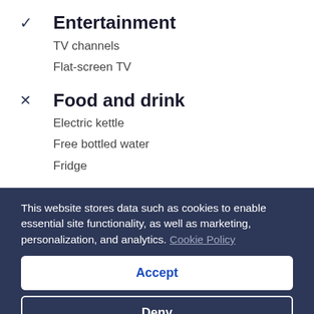✓ Entertainment
TV channels
Flat-screen TV
✕ Food and drink
Electric kettle
Free bottled water
Fridge
✓ More
This website stores data such as cookies to enable essential site functionality, as well as marketing, personalization, and analytics. Cookie Policy
Accept
Deny